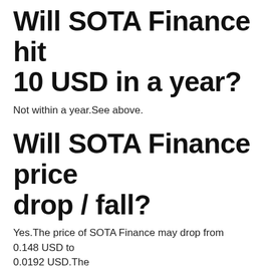Will SOTA Finance hit 10 USD in a year?
Not within a year.See above.
Will SOTA Finance price drop / fall?
Yes.The price of SOTA Finance may drop from 0.148 USD to 0.0192 USD.The change will be -87.0526%.
Will SOTA Finance hit 5 USD in a year?